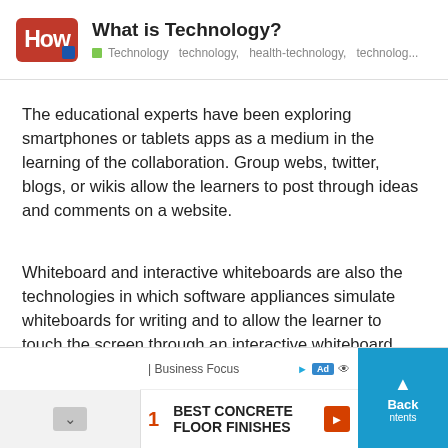What is Technology? | Technology  technology,  health-technology,  technolog...
The educational experts have been exploring smartphones or tablets apps as a medium in the learning of the collaboration. Group webs, twitter, blogs, or wikis allow the learners to post through ideas and comments on a website.
Whiteboard and interactive whiteboards are also the technologies in which software appliances simulate whiteboards for writing and to allow the learner to touch the screen through an interactive whiteboard.
[Figure (screenshot): Advertisement bar at the bottom: Business Focus ad with '1 BEST CONCRETE FLOOR FINISHES' and a Back button overlay.]